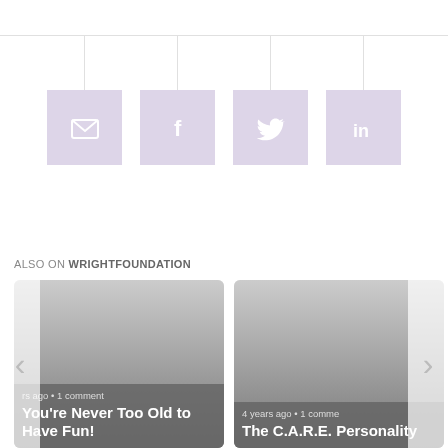[Figure (infographic): Four social sharing icon boxes (email, Facebook, Twitter, LinkedIn) in lavender/purple color, each suspended by a thin vertical line from a horizontal rule. Icons are white on lavender square backgrounds.]
ALSO ON WRIGHTFOUNDATION
[Figure (screenshot): Article card: '...rs ago • 1 comment' meta text, title 'You're Never Too Old to Have Fun!' on dark gray overlay, with left navigation arrow (‹) on the left side.]
[Figure (screenshot): Article card: '4 years ago • 1 comme...' meta text, title 'The C.A.R.E. Personality' on dark gray overlay, with right navigation arrow (›) on the right side.]